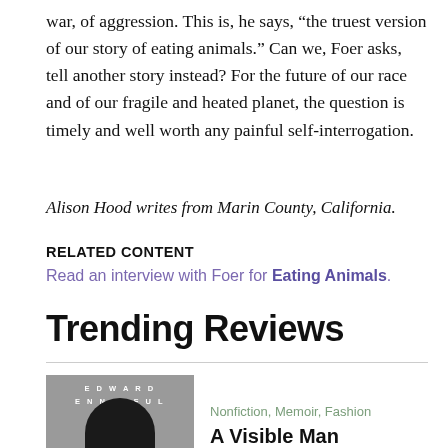war, of aggression. This is, he says, “the truest version of our story of eating animals.” Can we, Foer asks, tell another story instead? For the future of our race and of our fragile and heated planet, the question is timely and well worth any painful self-interrogation.
Alison Hood writes from Marin County, California.
RELATED CONTENT
Read an interview with Foer for Eating Animals.
Trending Reviews
[Figure (photo): Book cover image for Edward Enninful memoir, showing a black and white photo of a man's face with eyes closed against a grey background, with text EDWARD ENNINFUL at top]
Nonfiction, Memoir, Fashion
A Visible Man